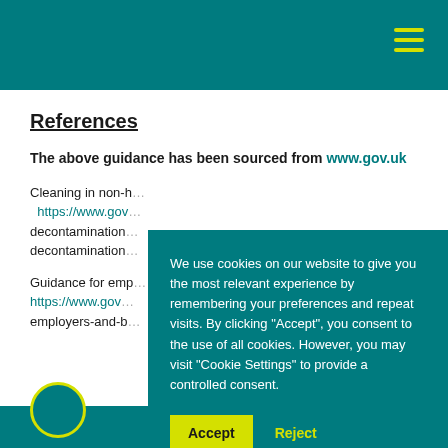References
The above guidance has been sourced from www.gov.uk
Cleaning in non-healthcare settings: https://www.gov... decontamination... decontamination...
Guidance for emp... https://www.gov... employers-and-b...
We use cookies on our website to give you the most relevant experience by remembering your preferences and repeat visits. By clicking "Accept", you consent to the use of all cookies. However, you may visit "Cookie Settings" to provide a controlled consent.